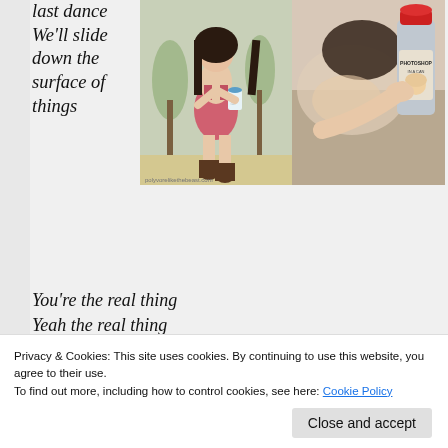[Figure (illustration): Two images side by side: left is a cartoon/illustration of a woman in a pink dress with long dark hair holding a drink, wearing cowboy boots; right is a photo of a person with a 'Photoshop in a Can' spray can]
last dance We'll slide down the surface of things
You're the real thing
Yeah the real thing
You're the real thing
Even better than the real thing
Privacy & Cookies: This site uses cookies. By continuing to use this website, you agree to their use.
To find out more, including how to control cookies, see here: Cookie Policy
Close and accept
beauty was problematic. It's bad enough that